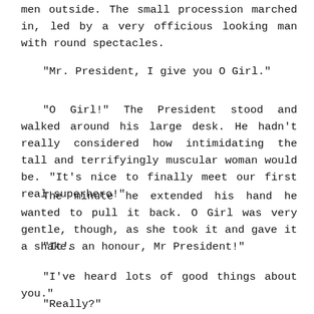men outside. The small procession marched in, led by a very officious looking man with round spectacles.
"Mr. President, I give you O Girl."
"O Girl!" The President stood and walked around his large desk. He hadn't really considered how intimidating the tall and terrifyingly muscular woman would be. "It's nice to finally meet our first real superhero!"
The minute he extended his hand he wanted to pull it back. O Girl was very gentle, though, as she took it and gave it a shake.
"It's an honour, Mr President!"
"I've heard lots of good things about you."
"Really?"